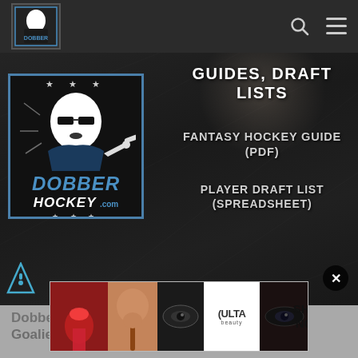DobberHockey navigation bar with logo, search, and menu icons
[Figure (screenshot): Dark hockey arena background hero image with DobberHockey logo on left and navigation menu items on right: GUIDES, DRAFT LISTS / FANTASY HOCKEY GUIDE (PDF) / PLAYER DRAFT LIST (SPREADSHEET)]
GUIDES, DRAFT LISTS
FANTASY HOCKEY GUIDE (PDF)
PLAYER DRAFT LIST (SPREADSHEET)
[Figure (logo): DobberHockey.com logo: man in sunglasses pointing, with stars, DOBBER HOCKEY .com text in blue and white on dark background]
[Figure (photo): ULTA Beauty advertisement banner showing makeup/beauty images with SHOP NOW text]
DobberS
Goalie Post launched